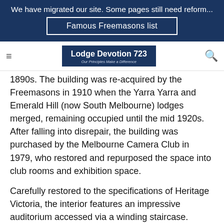We have migrated our site. Some pages still need reform...
Famous Freemasons list
Lodge Devotion 723 — Our Principles Make a Difference
1890s. The building was re-acquired by the Freemasons in 1910 when the Yarra Yarra and Emerald Hill (now South Melbourne) lodges merged, remaining occupied until the mid 1920s. After falling into disrepair, the building was purchased by the Melbourne Camera Club in 1979, who restored and repurposed the space into club rooms and exhibition space.
Carefully restored to the specifications of Heritage Victoria, the interior features an impressive auditorium accessed via a winding staircase. Another notable feature is the coat-of-arms above